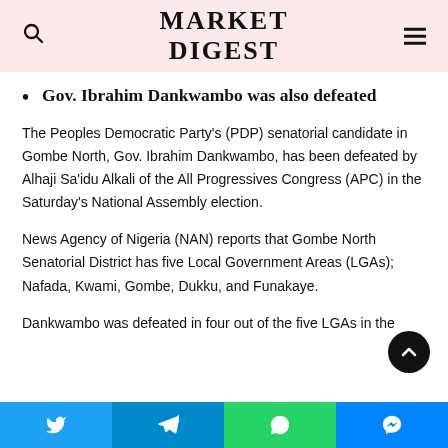MARKET DIGEST
Gov. Ibrahim Dankwambo was also defeated
The Peoples Democratic Party's (PDP) senatorial candidate in Gombe North, Gov. Ibrahim Dankwambo, has been defeated by Alhaji Sa'idu Alkali of the All Progressives Congress (APC) in the Saturday's National Assembly election.
News Agency of Nigeria (NAN) reports that Gombe North Senatorial District has five Local Government Areas (LGAs); Nafada, Kwami, Gombe, Dukku, and Funakaye.
Dankwambo was defeated in four out of the five LGAs in the
Twitter | Telegram | WhatsApp | Messenger